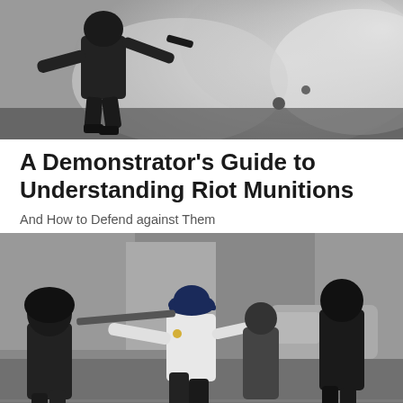[Figure (photo): A riot police officer in full black tactical gear surrounded by white smoke/tear gas, throwing or deploying a munition]
A Demonstrator’s Guide to Understanding Riot Munitions
And How to Defend against Them
[Figure (photo): A street confrontation scene with a police officer in white shirt and dark uniform cap running, surrounded by protesters in dark clothing, some holding a baton or stick]